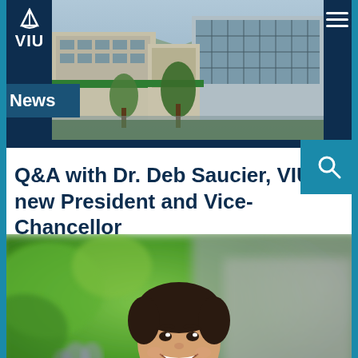VIU News
[Figure (photo): Aerial/street-level photo of VIU campus buildings with green awnings and trees]
Q&A with Dr. Deb Saucier, VIU's new President and Vice-Chancellor
[Figure (photo): Portrait photo of Dr. Deb Saucier smiling, wearing a yellow-green top, with green foliage in the background]